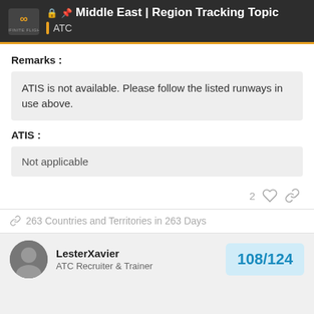Middle East | Region Tracking Topic — ATC
Remarks :
ATIS is not available. Please follow the listed runways in use above.
ATIS :
Not applicable
2
263 Countries and Territories in 263 Days
LesterXavier
ATC Recruiter & Trainer
108 / 124